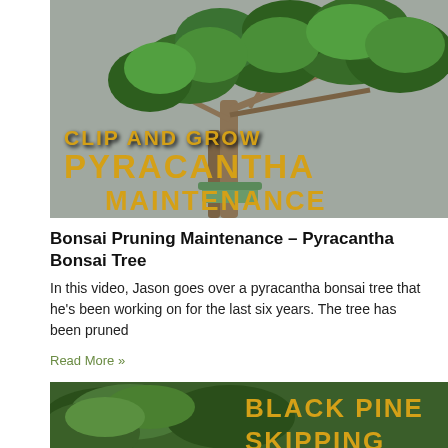[Figure (photo): Bonsai pyracantha tree with lush green foliage against a gray background, with overlaid text reading CLIP AND GROW PYRACANTHA MAINTENANCE in bold yellow/gold letters]
Bonsai Pruning Maintenance – Pyracantha Bonsai Tree
In this video, Jason goes over a pyracantha bonsai tree that he's been working on for the last six years. The tree has been pruned
Read More »
[Figure (photo): Black pine bonsai tree with dense needle foliage, with overlaid text reading BLACK PINE in bold yellow/gold letters, with more text partially visible below]